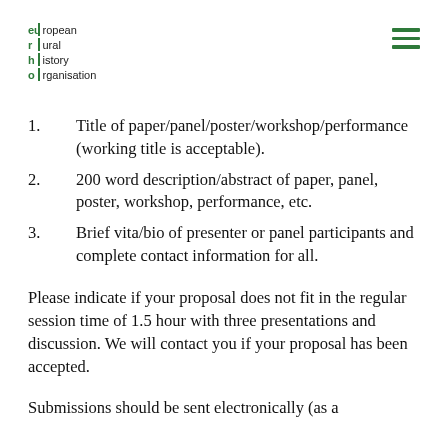european rural history organisation
Title of paper/panel/poster/workshop/performance (working title is acceptable).
200 word description/abstract of paper, panel, poster, workshop, performance, etc.
Brief vita/bio of presenter or panel participants and complete contact information for all.
Please indicate if your proposal does not fit in the regular session time of 1.5 hour with three presentations and discussion. We will contact you if your proposal has been accepted.
Submissions should be sent electronically (as a